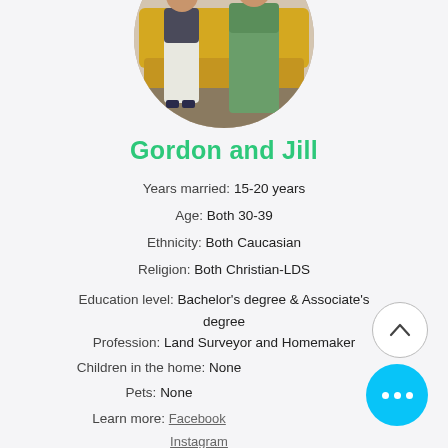[Figure (photo): Circular cropped photo of couple Gordon and Jill sitting on a couch, man in white pants, woman in green dress]
Gordon and Jill
Years married: 15-20 years
Age: Both 30-39
Ethnicity: Both Caucasian
Religion: Both Christian-LDS
Education level: Bachelor's degree & Associate's degree
Profession: Land Surveyor and Homemaker
Children in the home: None
Pets: None
Learn more: Facebook Instagram